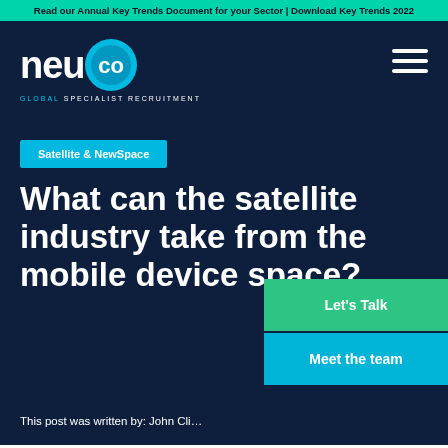Read our Annual Key Trends Document for your Sector | Download Key Trends 2022
[Figure (logo): NeuCo Global Specialist Recruitment logo — white 'neu' text with cyan circle containing 'co' in darker cyan, tagline 'GLOBAL SPECIALIST RECRUITMENT' below]
Satellite & NewSpace
What can the satellite industry take from the mobile device space?
This post was written by: John Cli...
Let's Talk
Meet the team